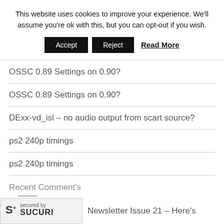This website uses cookies to improve your experience. We'll assume you're ok with this, but you can opt-out if you wish.
Accept | Reject | Read More
OSSC 0.89 Settings on 0.90?
OSSC 0.89 Settings on 0.90?
DExx-vd_isl – no audio output from scart source?
ps2 240p timings
ps2 240p timings
Recent Comment's
Newsletter Issue 21 – Here's